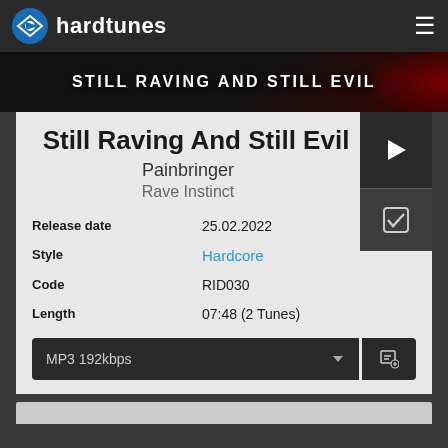hardtunes
[Figure (photo): Banner image showing text 'STILL RAVING AND STILL EVIL' on dark background with red accents]
Still Raving And Still Evil
Painbringer
Rave Instinct
| Release date | 25.02.2022 |
| Style | Hardcore |
| Code | RID030 |
| Length | 07:48 (2 Tunes) |
MP3 192kbps